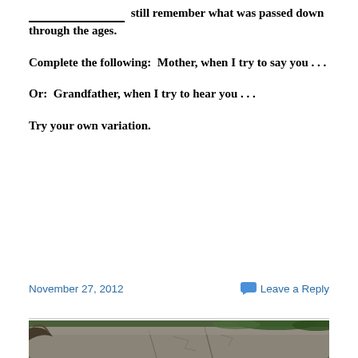___________________ still remember what was passed down through the ages.
Complete the following:  Mother, when I try to say you . . .
Or:  Grandfather, when I try to hear you . . .
Try your own variation.
November 27, 2012
Leave a Reply
[Figure (photo): Photograph of a large granite rock with petroglyphs carved on its surface, surrounded by trees and shrubs.]